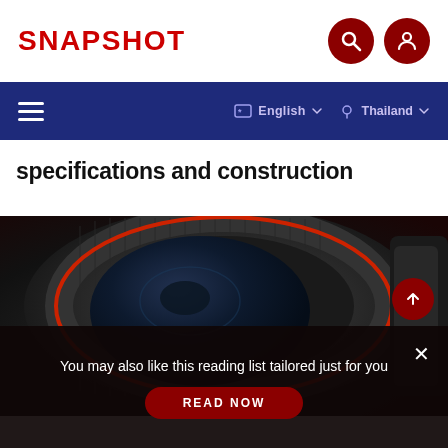SNAPSHOT
specifications and construction
[Figure (photo): Close-up photograph of a Canon RF lens (black with red ring detail) on a dark background. Text visible includes F1.2 L USM IS and OOTHING.]
You may also like this reading list tailored just for you
READ NOW